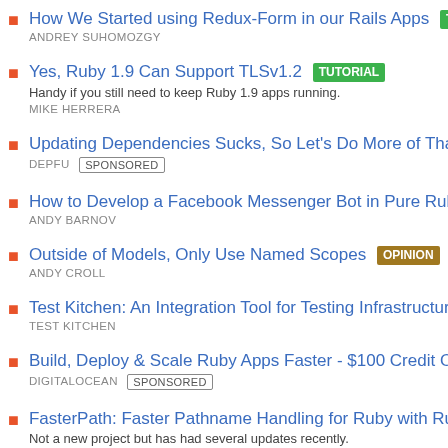How We Started using Redux-Form in our Rails Apps [TUTORIAL] — ANDREY SUHOMOZGY
Yes, Ruby 1.9 Can Support TLSv1.2 [TUTORIAL] — Handy if you still need to keep Ruby 1.9 apps running. — MIKE HERRERA
Updating Dependencies Sucks, So Let's Do More of That — DEPFU [SPONSORED]
How to Develop a Facebook Messenger Bot in Pure Ruby — ANDY BARNOV
Outside of Models, Only Use Named Scopes [OPINION] — ANDY CROLL
Test Kitchen: An Integration Tool for Testing Infrastructure — TEST KITCHEN
Build, Deploy & Scale Ruby Apps Faster - $100 Credit On — DIGITALOCEAN [SPONSORED]
FasterPath: Faster Pathname Handling for Ruby with Rust — Not a new project but has had several updates recently. — DANIEL P. CLARK